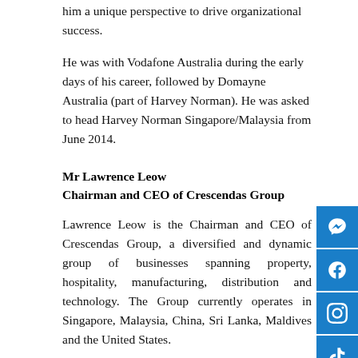him a unique perspective to drive organizational success.
He was with Vodafone Australia during the early days of his career, followed by Domayne Australia (part of Harvey Norman). He was asked to head Harvey Norman Singapore/Malaysia from June 2014.
Mr Lawrence Leow
Chairman and CEO of Crescendas Group
Lawrence Leow is the Chairman and CEO of Crescendas Group, a diversified and dynamic group of businesses spanning property, hospitality, manufacturing, distribution and technology. The Group currently operates in Singapore, Malaysia, China, Sri Lanka, Maldives and the United States.
Lawrence has been active in both social and